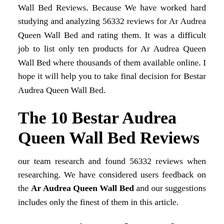Wall Bed Reviews. Because We have worked hard studying and analyzing 56332 reviews for Ar Audrea Queen Wall Bed and rating them. It was a difficult job to list only ten products for Ar Audrea Queen Wall Bed where thousands of them available online. I hope it will help you to take final decision for Bestar Audrea Queen Wall Bed.
The 10 Bestar Audrea Queen Wall Bed Reviews
our team research and found 56332 reviews when researching. We have considered users feedback on the Ar Audrea Queen Wall Bed and our suggestions includes only the finest of them in this article.
Comparison Chart of Top 10 Ar Audrea Queen Wall Bed